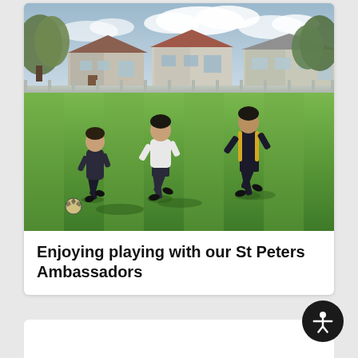[Figure (photo): Three boys playing soccer/football on a green grass field. Houses and trees visible in the background with a partly cloudy sky. The boys are mid-run chasing a ball.]
Enjoying playing with our St Peters Ambassadors